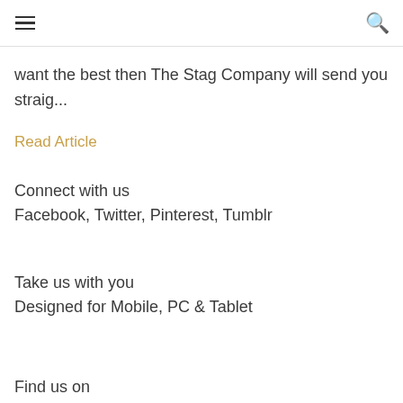≡  🔍
want the best then The Stag Company will send you straig...
Read Article
Connect with us
Facebook, Twitter, Pinterest, Tumblr
Take us with you
Designed for Mobile, PC & Tablet
Find us on